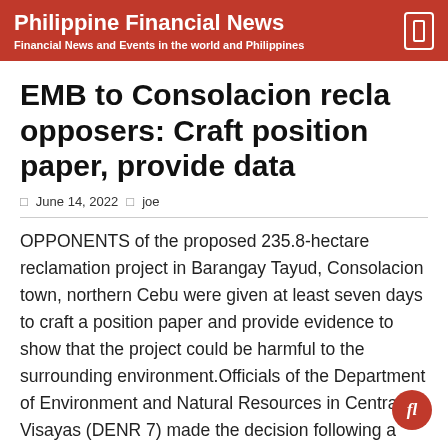Philippine Financial News
Financial News and Events in the world and Philippines
EMB to Consolacion recla opposers: Craft position paper, provide data
June 14, 2022   joe
OPPONENTS of the proposed 235.8-hectare reclamation project in Barangay Tayud, Consolacion town, northern Cebu were given at least seven days to craft a position paper and provide evidence to show that the project could be harmful to the surrounding environment.Officials of the Department of Environment and Natural Resources in Central Visayas (DENR 7) made the decision following a tense public hearing between those supporting and opposing the project at the Consolacion Municipal Hall on Tuesday, June 14, 2022.The position paper that the opposers will present will be used as part of evidence the DENR, particularly the Environmental Management Bureau